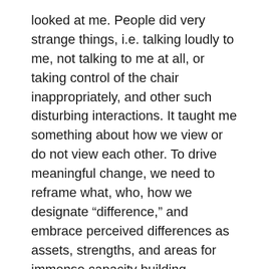looked at me. People did very strange things, i.e. talking loudly to me, not talking to me at all, or taking control of the chair inappropriately, and other such disturbing interactions. It taught me something about how we view or do not view each other. To drive meaningful change, we need to reframe what, who, how we designate “difference,” and embrace perceived differences as assets, strengths, and areas for immense capacity building.
What are your thoughts on the power and importance of visual representation to help change the status quo and champion more women and people from underrepresented communities in leadership across